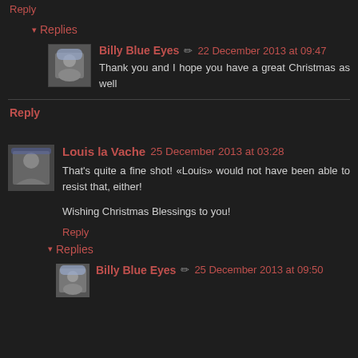Reply
▾ Replies
Billy Blue Eyes ✏ 22 December 2013 at 09:47
Thank you and I hope you have a great Christmas as well
Reply
Louis la Vache 25 December 2013 at 03:28
That's quite a fine shot! «Louis» would not have been able to resist that, either!

Wishing Christmas Blessings to you!
Reply
▾ Replies
Billy Blue Eyes ✏ 25 December 2013 at 09:50